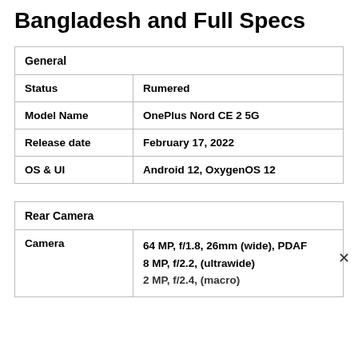Bangladesh and Full Specs
| General |  |
| --- | --- |
| Status | Rumered |
| Model Name | OnePlus Nord CE 2 5G |
| Release date | February 17, 2022 |
| OS & UI | Android 12, OxygenOS 12 |
| Rear Camera |  |
| --- | --- |
| Camera | 64 MP, f/1.8, 26mm (wide), PDAF
8 MP, f/2.2, (ultrawide)
2 MP, f/2.4, (macro) |